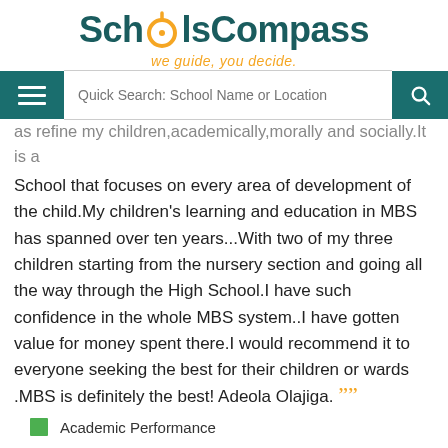[Figure (logo): SchoolsCompass logo with compass icon replacing the 'o', tagline: we guide, you decide.]
[Figure (screenshot): Navigation bar with hamburger menu, search box reading 'Quick Search: School Name or Location', and search button]
as refine my children,academically,morally and socially.It is a School that focuses on every area of development of the child.My children's learning and education in MBS has spanned over ten years...With two of my three children starting from the nursery section and going all the way through the High School.I have such confidence in the whole MBS system..I have gotten value for money spent there.I would recommend it to everyone seeking the best for their children or wards .MBS is definitely the best! Adeola Olajiga.
Academic Performance
Extra Curricular Activities
Quality of Service